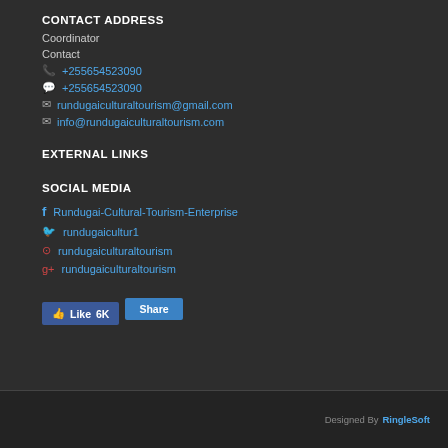CONTACT ADDRESS
Coordinator
Contact
+255654523090
+255654523090
rundugaiculturaltourism@gmail.com
info@rundugaiculturaltourism.com
EXTERNAL LINKS
SOCIAL MEDIA
Rundugai-Cultural-Tourism-Enterprise
rundugaicultur1
rundugaiculturaltourism
rundugaiculturaltourism
Like 6K  Share
Designed By RingleSoft